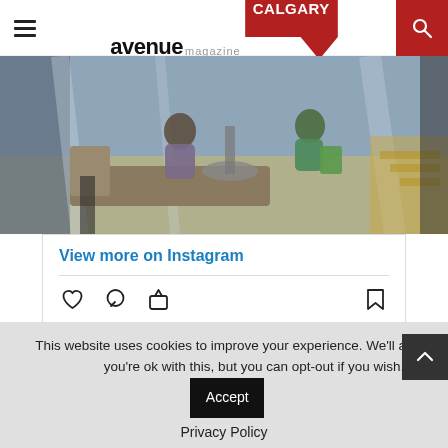avenue magazine CALGARY
[Figure (photo): Interior of a cafe seen through glass windows, people sitting at tables, warm toned photo]
View more on Instagram
156 likes
rossocoffeeroasters
This website uses cookies to improve your experience. We'll as you're ok with this, but you can opt-out if you wish.
Accept
Privacy Policy